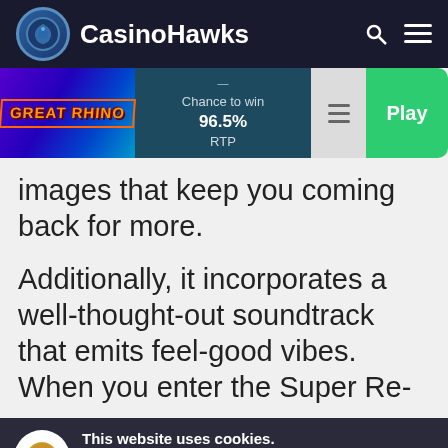CasinoHawks
[Figure (screenshot): Great Rhino slot game thumbnail with purple/blue gradient background and orange text logo]
Chance to win   96.5% RTP
images that keep you coming back for more.
Additionally, it incorporates a well-thought-out soundtrack that emits feel-good vibes. When you enter the Super Re-
This website uses cookies. By continuing, you give us permission to deploy cookies as per our Cookies Policy.
Close and Decline
Close and Accept